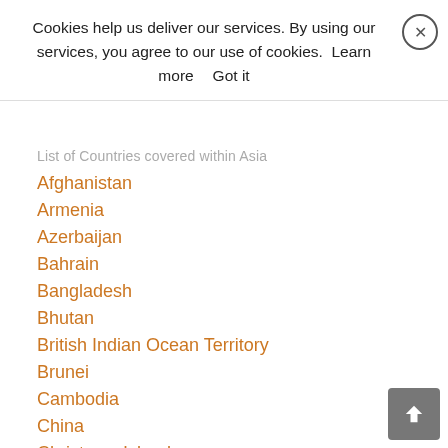Cookies help us deliver our services. By using our services, you agree to our use of cookies. Learn more  Got it
List of Countries covered within Asia
Afghanistan
Armenia
Azerbaijan
Bahrain
Bangladesh
Bhutan
British Indian Ocean Territory
Brunei
Cambodia
China
Christmas Island
Cocos (Keeling) Island
Hong Kong
India
Indonesia